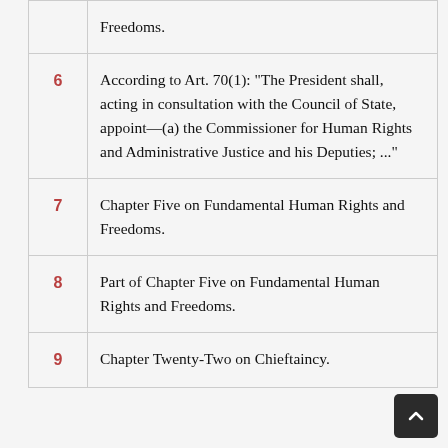| # | Content |
| --- | --- |
|  | Freedoms. |
| 6 | According to Art. 70(1): "The President shall, acting in consultation with the Council of State, appoint—(a) the Commissioner for Human Rights and Administrative Justice and his Deputies; ..." |
| 7 | Chapter Five on Fundamental Human Rights and Freedoms. |
| 8 | Part of Chapter Five on Fundamental Human Rights and Freedoms. |
| 9 | Chapter Twenty-Two on Chieftaincy. |